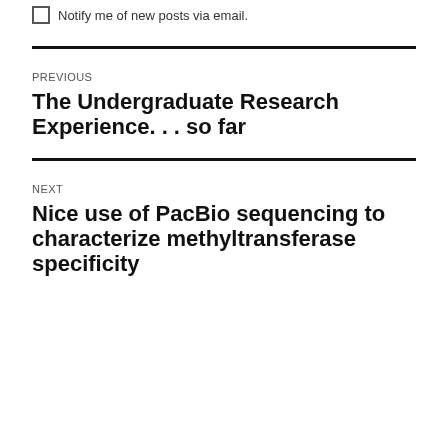Notify me of new posts via email.
PREVIOUS
The Undergraduate Research Experience. . . so far
NEXT
Nice use of PacBio sequencing to characterize methyltransferase specificity